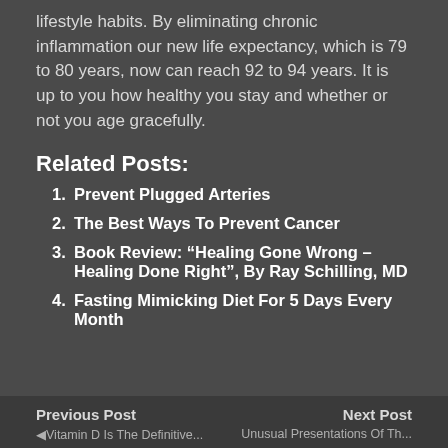lifestyle habits. By eliminating chronic inflammation our new life expectancy, which is 79 to 80 years, now can reach 92 to 94 years. It is up to you how healthy you stay and whether or not you age gracefully.
Related Posts:
Prevent Plugged Arteries
The Best Ways To Prevent Cancer
Book Review: “Healing Gone Wrong – Healing Done Right”, By Ray Schilling, MD
Fasting Mimicking Diet For 5 Days Every Month
Previous Post   Next Post
◄ Vitamin D Is The Definitive...   Unusual Presentations Of Th...